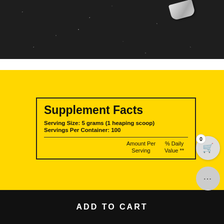[Figure (photo): Dark speckled surface (rubber gym floor or similar) with small metallic/silver objects visible in upper right area]
|  | Amount Per Serving | % Daily Value ** |
| --- | --- | --- |
| Supplement Facts |  |  |
| Serving Size: 5 grams (1 heaping scoop) |  |  |
| Servings Per Container: 100 |  |  |
ADD TO CART